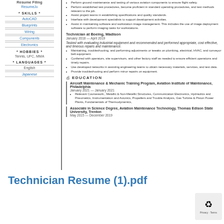Resume Filing
ResumeJo
* SKILLS *
AutoCAD
Blueprints
Wiring
Components
Electronics
* HOBBIES *
Tennis, UFC, MMA
* LANGUAGES *
English
Japanese
Technician at Boeing, Madison
January 2018 — April 2019
Tasked with evaluating industrial equipment and recommended and performed appropriate, cost effective, and timeous repairs and maintenance.
Maintaining, troubleshooting, and performing adjustments or tweaks on plumbing, electrical, HVAC, and conveyor belt equipment.
Conferred with operators, site supervisors, and other factory staff as needed to ensure efficient operations and timely repairs.
Use developed networks in assisting engineering teams to obtain necessary materials, services, and test data.
Provide troubleshooting and perform minor repairs on equipment.
EDUCATION
Aircraft Maintenance & Mechanic Training Program, Aviation Institute of Maintenance, Philadelphia
January 2021 — January 2021
Relevant Coursework:, Metallic & Non-Metallic Structures, Communication Electronics, Hydraulics and Pneumatics, Instrumentation and Avionics, Propellers and Trouble Analysis, Gas Turbine & Piston Power Plants, Fundamentals of Thermodynamics,
Associate in Science Degree, Aviation Maintenance Technology, Thomas Edison State University, Trenton
May 2015 — December 2019
Technician Resume (1).pdf
Privacy · Terms